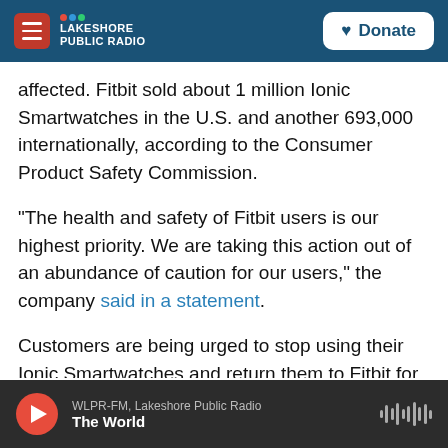NPR Lakeshore Public Radio | Donate
affected. Fitbit sold about 1 million Ionic Smartwatches in the U.S. and another 693,000 internationally, according to the Consumer Product Safety Commission.
"The health and safety of Fitbit users is our highest priority. We are taking this action out of an abundance of caution for our users," the company said in a statement.
Customers are being urged to stop using their Ionic Smartwatches and return them to Fitbit for a refund. The company is also offering customers a discount on other Fitbit products
WLPR-FM, Lakeshore Public Radio | The World